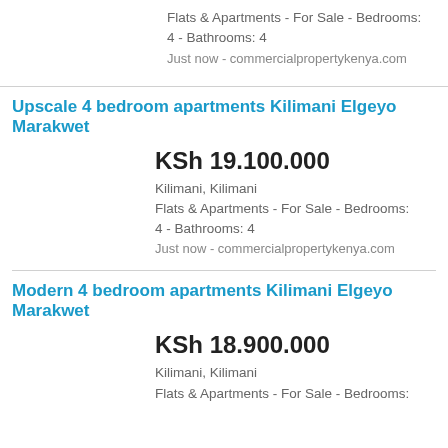Flats & Apartments - For Sale - Bedrooms: 4 - Bathrooms: 4
Just now - commercialpropertykenya.com
Upscale 4 bedroom apartments Kilimani Elgeyo Marakwet
KSh 19.100.000
Kilimani, Kilimani
Flats & Apartments - For Sale - Bedrooms: 4 - Bathrooms: 4
Just now - commercialpropertykenya.com
Modern 4 bedroom apartments Kilimani Elgeyo Marakwet
KSh 18.900.000
Kilimani, Kilimani
Flats & Apartments - For Sale - Bedrooms: